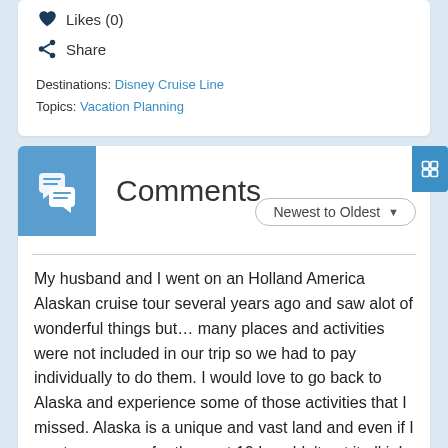Likes (0)
Share
Destinations: Disney Cruise Line
Topics: Vacation Planning
Comments
Newest to Oldest
My husband and I went on an Holland America Alaskan cruise tour several years ago and saw alot of wonderful things but… many places and activities were not included in our trip so we had to pay individually to do them. I would love to go back to Alaska and experience some of those activities that I missed. Alaska is a unique and vast land and even if I went every year for the next 10 I couldn't get it all in!
Francie on November 12, 2012 at 11:41 am